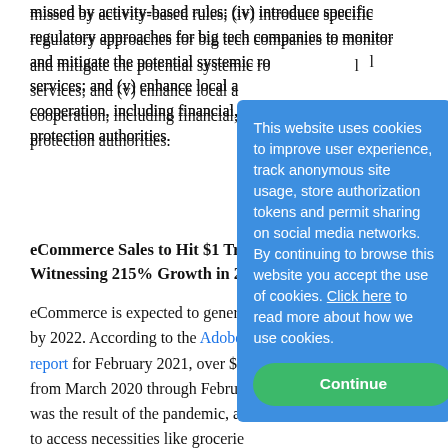missed by activity-based rules; (iv) introduce specific regulatory approaches for big tech companies to monitor and mitigate the potential systemic ro[sk to financial] services; and (v) enhance local a[nd international] cooperation, including financial, [consumer] protection authorities.
eCommerce Sales to Hit $1 Tril[lion, After] Witnessing 215% Growth in 20[22]
eCommerce is expected to genera[te significant inco]me by 2022. According to the Adobe [Digital Economy] report for February 2021, over $8[00 billion was spent] from March 2020 through Februa[ry 2021. Much of this] was the result of the pandemic, a[s consumers turned] to access necessities like grocerie[s online. Notably,] this number is nearly as much as [the revenue from the] entire holiday shopping season in November and Dece[mber combined.]
[Figure (screenshot): Cookie consent popup overlay with blue background. Text: 'This website uses cookies to improve user experience, track anonymous site usage, store authorization tokens and permit sharing on social media networks. By continuing to browse this website you accept the use of cookies. Click here to read more about how we use cookies.' Green 'Continue' button at bottom.]